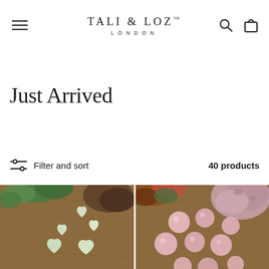TALI & LOZ™ LONDON
Just Arrived
Filter and sort   40 products
[Figure (photo): Two product photos side by side: left shows small heart-shaped pale green/white crystals on a wooden surface with green leaves; right shows pink/peach crystal spheres on a wooden surface with leaves and a raw pink stone.]